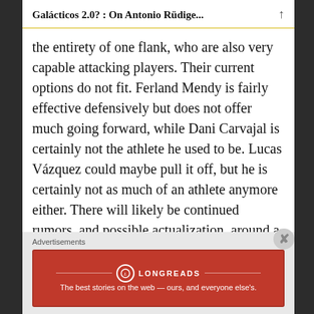Galácticos 2.0? : On Antonio Rüdige...
the entirety of one flank, who are also very capable attacking players. Their current options do not fit. Ferland Mendy is fairly effective defensively but does not offer much going forward, while Dani Carvajal is certainly not the athlete he used to be. Lucas Vázquez could maybe pull it off, but he is certainly not as much of an athlete anymore either. There will likely be continued rumors, and possible actualization, around a return for ex-Real Madrid and current Rayo Vallecano left back Fran García, who could
Advertisements
[Figure (other): Longreads advertisement banner: red background with Longreads logo and tagline 'The best stories on the web — ours, and everyone else's.']